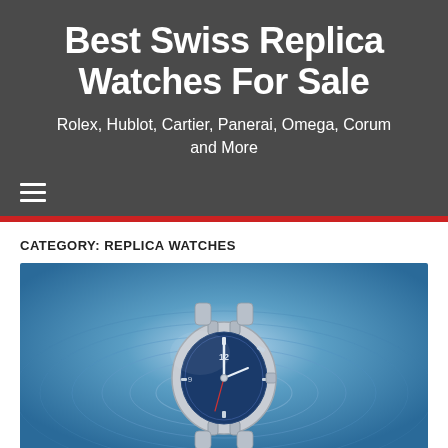Best Swiss Replica Watches For Sale
Rolex, Hublot, Cartier, Panerai, Omega, Corum and More
[Figure (other): Hamburger menu icon (three horizontal white lines) on dark background]
CATEGORY: REPLICA WATCHES
[Figure (photo): A silver luxury watch with a blue dial submerged or splashing in water, showing circular water ripples, set against a blue water background]